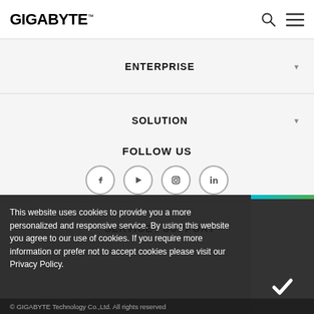GIGABYTE
ENTERPRISE
SOLUTION
RESOURCE
SERVICE / SUPPORT
FOLLOW US
[Figure (other): Social media icons: Facebook, YouTube/Twitter, Instagram, LinkedIn]
This website uses cookies to provide you a more personalized and responsive service. By using this website you agree to our use of cookies. If you require more information or prefer not to accept cookies please visit our Privacy Policy.
© GIGABYTE Technology Co.,Ltd. All rights reserved